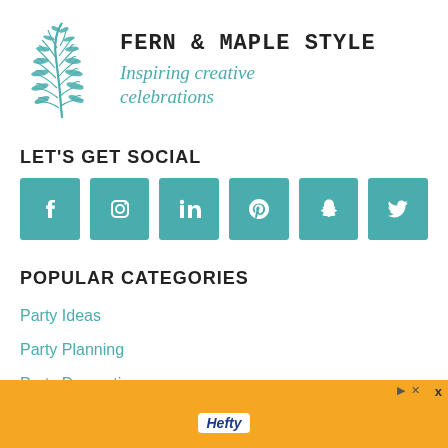[Figure (logo): Fern & Maple Style logo with teal fern illustration and script tagline 'Inspiring creative celebrations']
LET'S GET SOCIAL
[Figure (infographic): Six teal social media icon buttons: Facebook, Instagram, LinkedIn, Pinterest, Snapchat, Twitter]
POPULAR CATEGORIES
Party Ideas
Party Planning
Party Decorations
[Figure (other): Advertisement banner with orange background and Hefty logo]